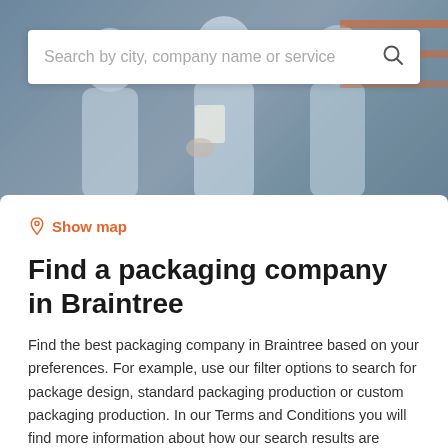[Figure (photo): Background hero image showing workers in a warehouse/industrial setting wearing light blue shirts, with orange warehouse shelving visible in the background]
Search by city, company name or service
Show map
Find a packaging company in Braintree
Find the best packaging company in Braintree based on your preferences. For example, use our filter options to search for package design, standard packaging production or custom packaging production. In our Terms and Conditions you will find more information about how our search results are generated.
Filters